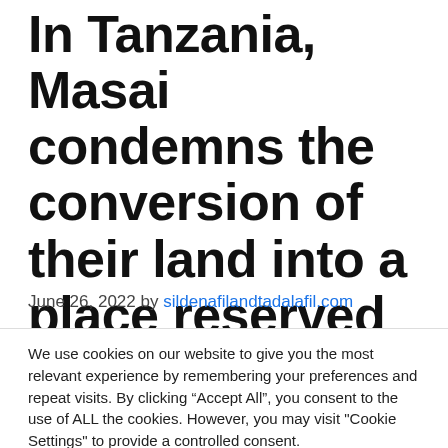In Tanzania, Masai condemns the conversion of their land into a place reserved for tourists
June 26, 2022 by sildenafilandtadalafil.com
We use cookies on our website to give you the most relevant experience by remembering your preferences and repeat visits. By clicking “Accept All”, you consent to the use of ALL the cookies. However, you may visit "Cookie Settings" to provide a controlled consent.